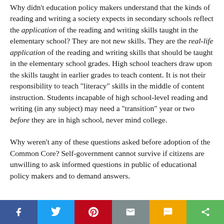Why didn't education policy makers understand that the kinds of reading and writing a society expects in secondary schools reflect the application of the reading and writing skills taught in the elementary school? They are not new skills. They are the real-life application of the reading and writing skills that should be taught in the elementary school grades. High school teachers draw upon the skills taught in earlier grades to teach content. It is not their responsibility to teach "literacy" skills in the middle of content instruction. Students incapable of high school-level reading and writing (in any subject) may need a "transition" year or two before they are in high school, never mind college.
Why weren't any of these questions asked before adoption of the Common Core? Self-government cannot survive if citizens are unwilling to ask informed questions in public of educational policy makers and to demand answers.
[Figure (infographic): Social media share bar with Facebook, Twitter, Pinterest, Email, SMS, and Share buttons]